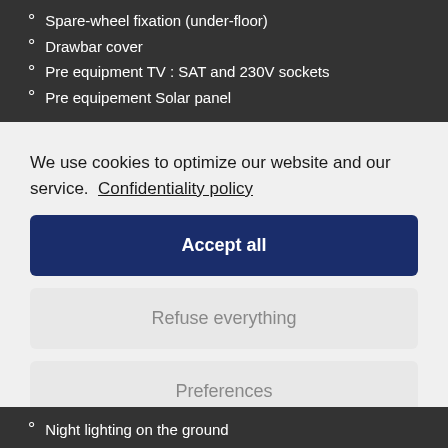Spare-wheel fixation (under-floor)
Drawbar cover
Pre equipment TV : SAT and 230V sockets
Pre equipement Solar panel
We use cookies to optimize our website and our service.  Confidentiality policy
Accept all
Refuse everything
Preferences
Night lighting on the ground